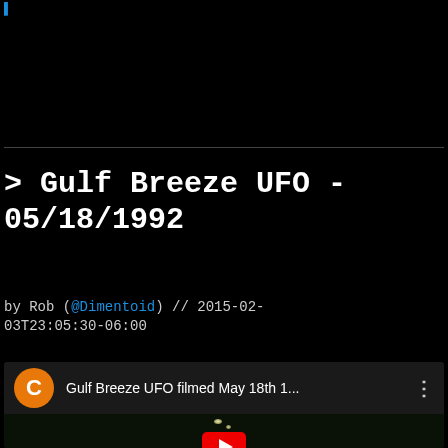> Gulf Breeze UFO - 05/18/1992
by Rob (@Dimentoid) // 2015-02-03T23:05:30-06:00
[Figure (screenshot): YouTube video embed preview showing 'Gulf Breeze UFO filmed May 18th 1...' with an orange circle avatar with letter C, a vertical dots menu icon, and a dark video thumbnail with a small bright object (UFO) and a YouTube play button at the bottom.]